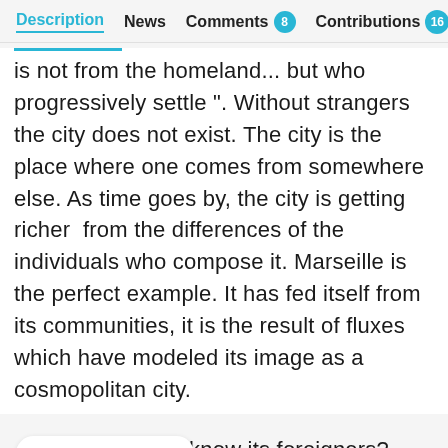Description  News  Comments 8  Contributions 16
is not from the homeland... but who progressively settle ". Without strangers the city does not exist. The city is the place where one comes from somewhere else. As time goes by, the city is getting richer  from the differences of the individuals who compose it. Marseille is the perfect example. It has fed itself from its communities, it is the result of fluxes which have modeled its image as a cosmopolitan city.
Gestion des cookies  know its foreigners? Could we have another look on them and try to put an